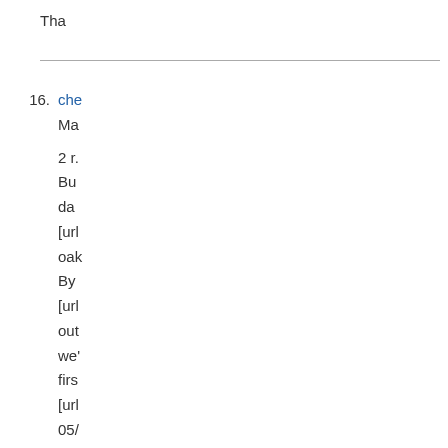Th...
16. che...
Ma...
2 r...
Bu...
da...
[url...
oak...
By ...
[url...
out...
we'...
firs...
[url...
05/...
[url...
cla...